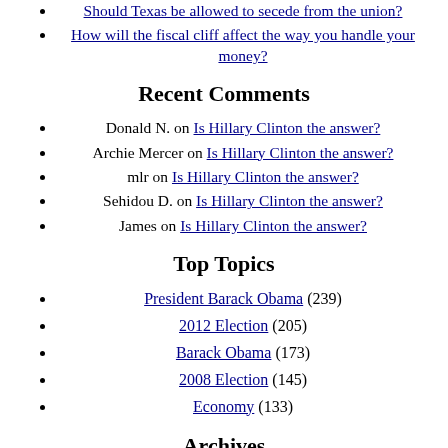Should Texas be allowed to secede from the union?
How will the fiscal cliff affect the way you handle your money?
Recent Comments
Donald N. on Is Hillary Clinton the answer?
Archie Mercer on Is Hillary Clinton the answer?
mlr on Is Hillary Clinton the answer?
Sehidou D. on Is Hillary Clinton the answer?
James on Is Hillary Clinton the answer?
Top Topics
President Barack Obama (239)
2012 Election (205)
Barack Obama (173)
2008 Election (145)
Economy (133)
Archives
December 2010
M T W T F S S